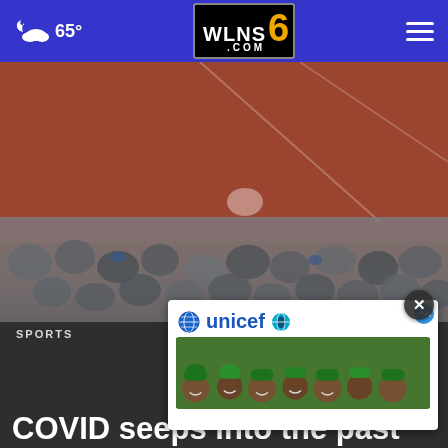WLNS 6 .COM — 65° weather — navigation menu
[Figure (photo): Blurred aerial view of a clay tennis court with a player visible mid-court and a large crowd of spectators in the foreground, all out of focus]
SPORTS
COVID seeps into the past
[Figure (infographic): UNICEF advertisement overlay showing the UNICEF logo and a photo of smiling African children wearing green and yellow traditional hats]